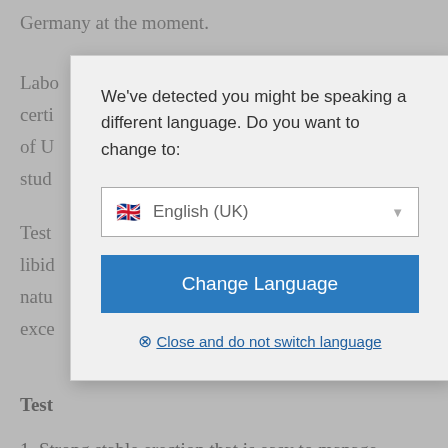Germany at the moment.
Labo... sary certi... ute of U... stud...
Test... libi... nly natu... e exce...
[Figure (screenshot): A language-change modal dialog overlaying a partially visible document page. The dialog has a light gray background with message: 'We've detected you might be speaking a different language. Do you want to change to:' A dropdown shows a UK flag with 'English (UK)' and a down arrow. Below is a blue 'Change Language' button. At the bottom is a 'Close and do not switch language' link with a blue X icon.]
Test...
1. Strong stable erection that is easy to manage
2. Increased duration of sexual intercourse: